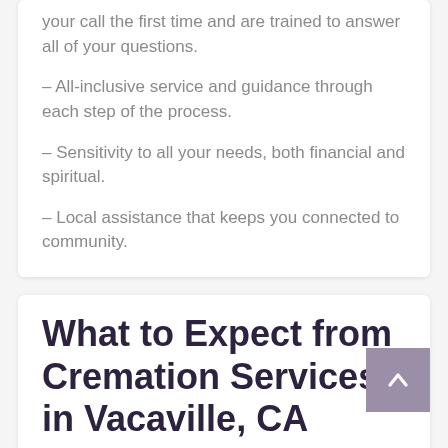your call the first time and are trained to answer all of your questions.
– All-inclusive service and guidance through each step of the process.
– Sensitivity to all your needs, both financial and spiritual.
– Local assistance that keeps you connected to community.
What to Expect from Cremation Services in Vacaville, CA
Cremation services in Vacaville, CA completely understand how you will be devastated by the loss of a loved one and will provide the most...